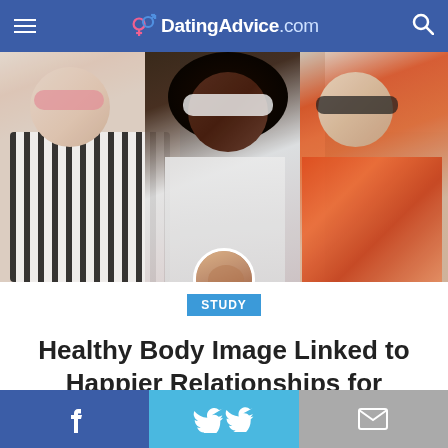DatingAdvice.com
[Figure (photo): Three women at a beach smiling and laughing, wearing sunglasses. Left woman in striped top, center woman with natural afro hair in white sunglasses, right woman in floral orange top. Author avatar overlaid at bottom center.]
STUDY
Healthy Body Image Linked to Happier Relationships for Women
Written by: C. Price